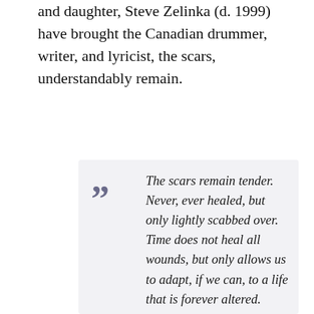and daughter, Steve Zelinka (d. 1999) have brought the Canadian drummer, writer, and lyricist, the scars, understandably remain.
The scars remain tender. Never, ever healed, but only lightly scabbed over. Time does not heal all wounds, but only allows us to adapt, if we can, to a life that is forever altered. Some wounds are like physical disabilities that will never heal, but can only be compensated for, adapted to. Now when I think back to the dark years of the late '90s, I feel far away in time, even unto building a new life and new memories, and my Ghost Rider